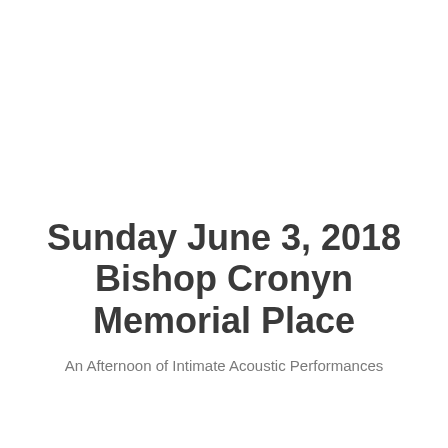Sunday June 3, 2018 Bishop Cronyn Memorial Place
An Afternoon of Intimate Acoustic Performances